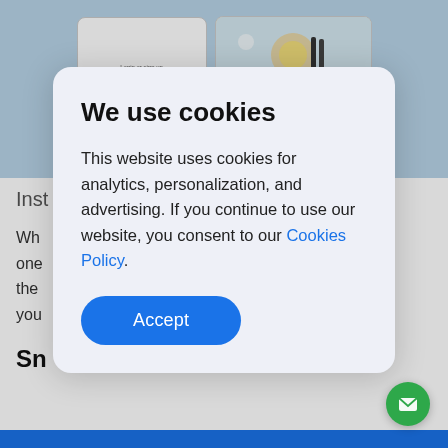[Figure (screenshot): Two mobile phone mockups: a login screen with Facebook continue button, and an Instagram post showing a coffee/lemon flat lay with 6,181 likes]
Inst
Wh... one... the... you...
Sn
We use cookies

This website uses cookies for analytics, personalization, and advertising. If you continue to use our website, you consent to our Cookies Policy.

Accept